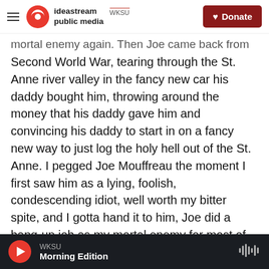ideastream public media WKSU | Donate
mortal enemy again. Then Joe came back from the Second World War, tearing through the St. Anne river valley in the fancy new car his daddy bought him, throwing around the money that his daddy gave him and convincing his daddy to start in on a fancy new way to just log the holy hell out of the St. Anne. I pegged Joe Mouffreau the moment I first saw him as a lying, foolish, condescending idiot, well worth my bitter spite, and I gotta hand it to him, Joe did a bang-up job as my mortal enemy for most of my life.
Now look at me, lying here in a hospital bed with
WKSU Morning Edition